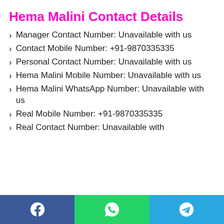Hema Malini Contact Details
Manager Contact Number: Unavailable with us
Contact Mobile Number: +91-9870335335
Personal Contact Number: Unavailable with us
Hema Malini Mobile Number: Unavailable with us
Hema Malini WhatsApp Number: Unavailable with us
Real Mobile Number: +91-9870335335
Real Contact Number: Unavailable with
Facebook | WhatsApp | Telegram